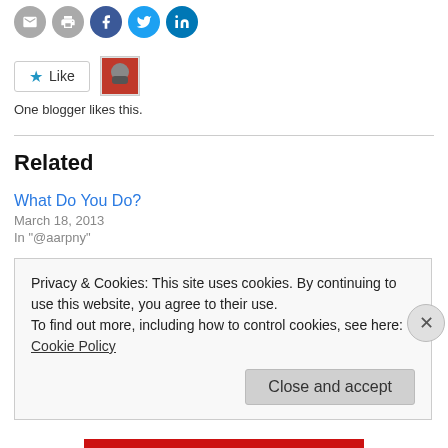[Figure (other): Social sharing icon buttons: email (grey), print (grey), Facebook (blue), Twitter (cyan), LinkedIn (blue)]
[Figure (other): Like button with star icon and small avatar thumbnail of a blogger]
One blogger likes this.
Related
What Do You Do?
March 18, 2013
In "@aarpny"
Slow Down to Accelerate
July 24, 2013
In "@aarpny"
Privacy & Cookies: This site uses cookies. By continuing to use this website, you agree to their use.
To find out more, including how to control cookies, see here: Cookie Policy
Close and accept